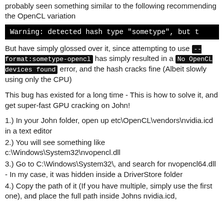probably seen something similar to the following recommending the OpenCL variation
[Figure (screenshot): Black terminal/code block showing: Warning: detected hash type "sometype", but t (truncated)]
But have simply glossed over it, since attempting to use --format:sometype-opencl has simply resulted in a No OpenCL devices found error, and the hash cracks fine (Albeit slowly using only the CPU)
This bug has existed for a long time - This is how to solve it, and get super-fast GPU cracking on John!
1.) In your John folder, open up etc\OpenCL\vendors\nvidia.icd in a text editor
2.) You will see something like c:\Windows\System32\nvopencl.dll
3.) Go to C:\Windows\System32\, and search for nvopencl64.dll - In my case, it was hidden inside a DriverStore folder
4.) Copy the path of it (If you have multiple, simply use the first one), and place the full path inside Johns nvidia.icd,